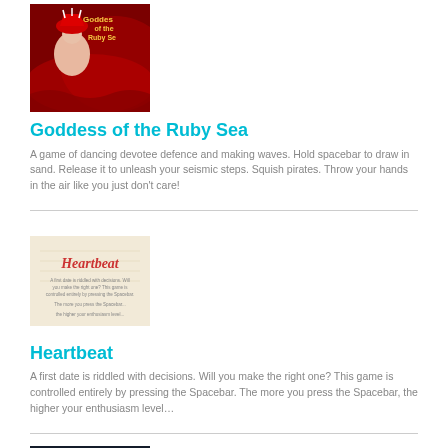[Figure (illustration): Game cover art for Goddess of the Ruby Sea – red illustrated goddess figure on dark red background with stylized text]
Goddess of the Ruby Sea
A game of dancing devotee defence and making waves. Hold spacebar to draw in sand. Release it to unleash your seismic steps. Squish pirates. Throw your hands in the air like you just don't care!
[Figure (illustration): Game cover art for Heartbeat – light beige background with red Heartbeat title text and smaller body text]
Heartbeat
A first date is riddled with decisions. Will you make the right one? This game is controlled entirely by pressing the Spacebar. The more you press the Spacebar, the higher your enthusiasm level…
[Figure (illustration): Game cover art for Canal Coverage – dark night sky background with illuminated structures and Canal Coverage text at bottom]